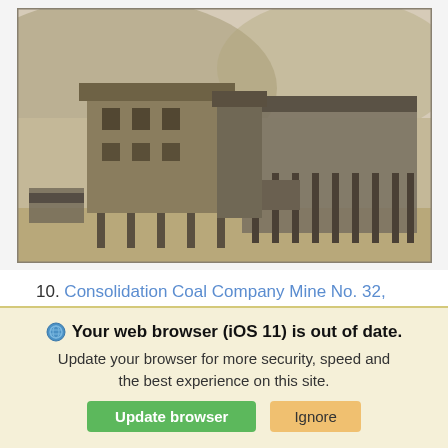[Figure (photo): Black and white historical photograph of Consolidation Coal Company Mine No. 32 in Fairmont, W. Va. Shows large industrial mine buildings on stilts/supports, with hillside in background.]
10. Consolidation Coal Company Mine No. 32, Fairmont, W. Va.
IDNO:
Your web browser (iOS 11) is out of date. Update your browser for more security, speed and the best experience on this site.